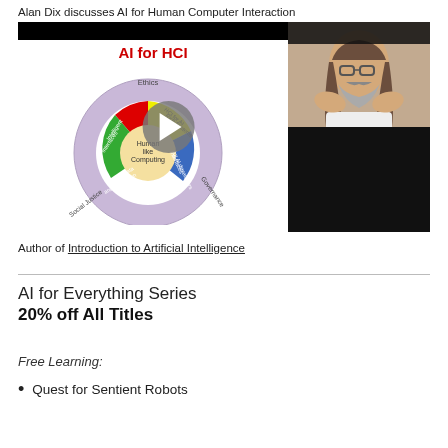Alan Dix discusses AI for Human Computer Interaction
[Figure (screenshot): Video player screenshot showing a slide titled 'AI for HCI' with a circular diagram of HCI topics (Ethics, HCI for AI Rich Systems, Interfaces for AI developers, Governance, Big Data and Evaluation, Social Justice, Human-like Computing, Intelligent Interfaces) overlaid with a play button, alongside a webcam view of a bearded man gesturing and a black panel below]
Author of Introduction to Artificial Intelligence
AI for Everything Series
20% off All Titles
Free Learning:
Quest for Sentient Robots